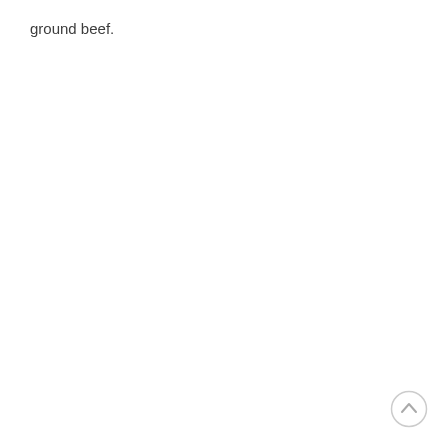ground beef.
[Figure (other): A circular scroll-to-top button icon in the bottom right corner, showing an upward-pointing chevron inside a light gray circle outline.]